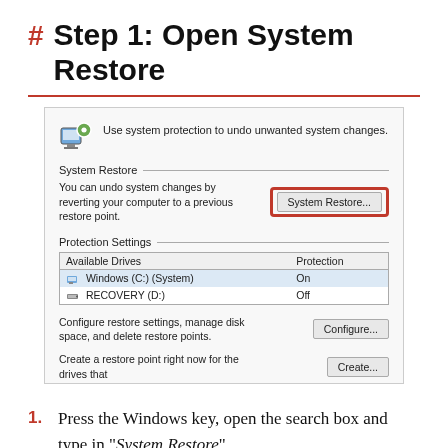Step 1: Open System Restore
[Figure (screenshot): Windows System Protection dialog showing System Restore section with a highlighted 'System Restore...' button outlined in red, and Protection Settings section with a table showing Available Drives (Windows (C:) (System) - On, RECOVERY (D:) - Off), along with Configure and Create buttons.]
Press the Windows key, open the search box and type in "System Restore".
Click "Open".